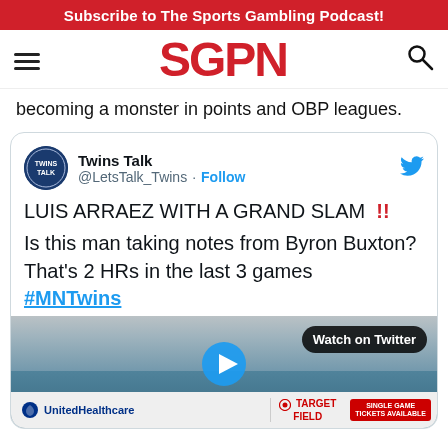Subscribe to The Sports Gambling Podcast!
[Figure (logo): SGPN logo with hamburger menu and search icon]
becoming a monster in points and OBP leagues.
[Figure (screenshot): Embedded tweet from Twins Talk (@LetsTalk_Twins): LUIS ARRAEZ WITH A GRAND SLAM !! Is this man taking notes from Byron Buxton? That's 2 HRs in the last 3 games #MNTwins, with a baseball video thumbnail showing Target Field and UnitedHealthcare signage with Watch on Twitter button]